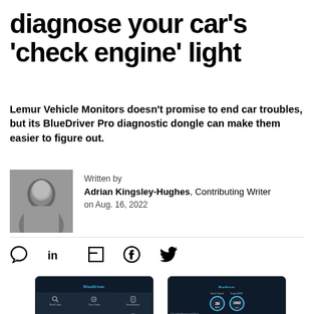diagnose your car's 'check engine' light
Lemur Vehicle Monitors doesn't promise to end car troubles, but its BlueDriver Pro diagnostic dongle can make them easier to figure out.
[Figure (photo): Black and white headshot photo of Adrian Kingsley-Hughes]
Written by
Adrian Kingsley-Hughes, Contributing Writer
on Aug. 16, 2022
[Figure (screenshot): Two smartphone screenshots showing the BlueDriver app interface. Left phone shows a menu grid with icons for Read Codes, Clear Codes, Saved Reports, Freeze Frame, Drug Check, Mode 6. Right phone shows gauge displays with vehicle speed reading 39 MPH and Engine RPM reading 1692 rpm, with Calculated Engine Load Value 23.9%]